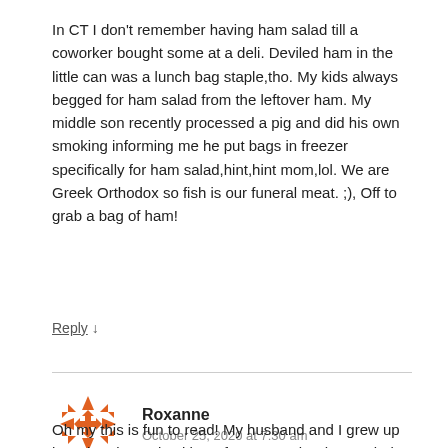In CT I don't remember having ham salad till a coworker bought some at a deli. Deviled ham in the little can was a lunch bag staple,tho. My kids always begged for ham salad from the leftover ham. My middle son recently processed a pig and did his own smoking informing me he put bags in freezer specifically for ham salad,hint,hint mom,lol. We are Greek Orthodox so fish is our funeral meat. ;), Off to grab a bag of ham!
Reply ↓
Roxanne
October 25, 2020 at 7:30 am
Oh my this is fun to read! My husband and I grew up in Nebraska and neither of us remember ham salad or bologna